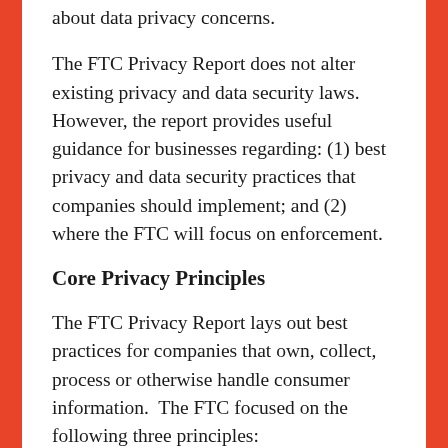about data privacy concerns.
The FTC Privacy Report does not alter existing privacy and data security laws.  However, the report provides useful guidance for businesses regarding: (1) best privacy and data security practices that companies should implement; and (2) where the FTC will focus on enforcement.
Core Privacy Principles
The FTC Privacy Report lays out best practices for companies that own, collect, process or otherwise handle consumer information.  The FTC focused on the following three principles: